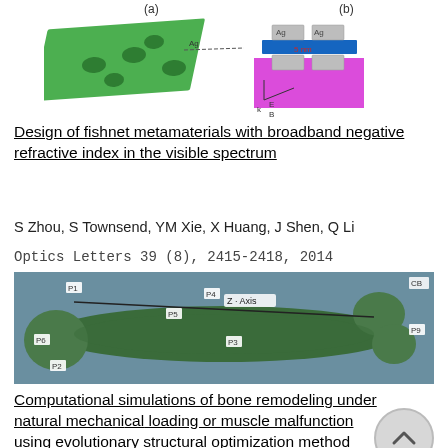[Figure (illustration): 3D rendering of a fishnet metamaterial structure (green layered slab with holes) on the left labeled (a), and a silver/blue layered nanostructure on the right labeled (b) with '5 nm' label and E,B,k field arrows.]
Design of fishnet metamaterials with broadband negative refractive index in the visible spectrum
S Zhou, S Townsend, YM Xie, X Huang, J Shen, Q Li
Optics Letters 39 (8), 2415-2418, 2014
[Figure (photo): 3D model of a human femur bone rendered in green, with labeled measurement points P1 through P9 and a 'Z-Axis' annotation line along the length of the bone.]
Computational simulations of bone remodeling under natural mechanical loading or muscle malfunction using evolutionary structural optimization method
H Latifi, YM Xie, X Huang, M Bilgen
Engineering 6, 113-126, 2014